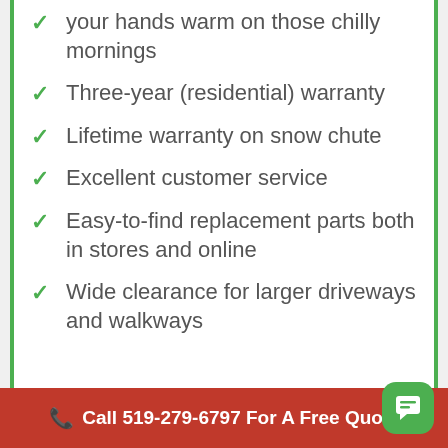your hands warm on those chilly mornings
Three-year (residential) warranty
Lifetime warranty on snow chute
Excellent customer service
Easy-to-find replacement parts both in stores and online
Wide clearance for larger driveways and walkways
Call 519-279-6797 For A Free Quote